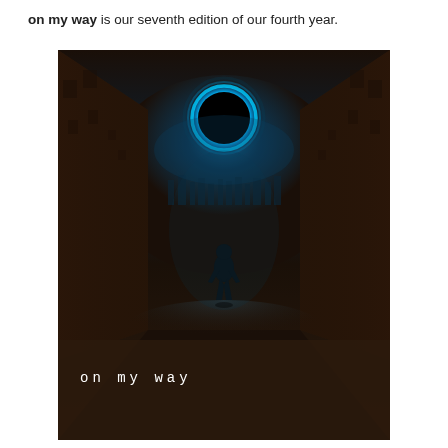on my way is our seventh edition of our fourth year.
[Figure (illustration): A dark, atmospheric illustration showing a lone silhouette of a person walking down a dimly lit alley flanked by tall buildings. Above the figure hangs a glowing black sphere (eclipse) with a bright blue-white light ring. The foreground is dark brown/sandy ground. In the lower left of the image, white text reads 'on my way' in a spaced monospace style.]